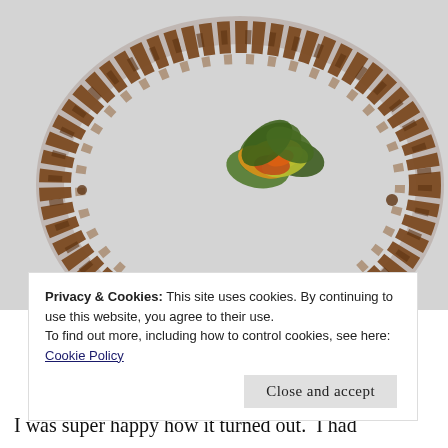[Figure (photo): A grapevine wreath lying flat on a white surface, with a cluster of artificial autumn leaves in green, yellow, and orange placed in the center-top area of the wreath ring.]
Privacy & Cookies: This site uses cookies. By continuing to use this website, you agree to their use.
To find out more, including how to control cookies, see here:
Cookie Policy
Close and accept
I was super happy how it turned out.  I had